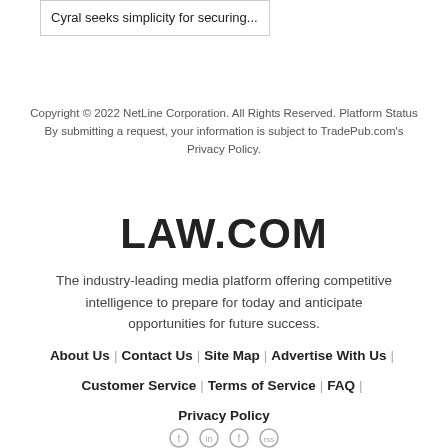Cyral seeks simplicity for securing...
Copyright © 2022 NetLine Corporation. All Rights Reserved. Platform Status By submitting a request, your information is subject to TradePub.com's Privacy Policy.
[Figure (logo): LAW.COM logo in bold black text]
The industry-leading media platform offering competitive intelligence to prepare for today and anticipate opportunities for future success.
About Us | Contact Us | Site Map | Advertise With Us
Customer Service | Terms of Service | FAQ
Privacy Policy
[Figure (illustration): Social media icons: Twitter, LinkedIn, Facebook, RSS]